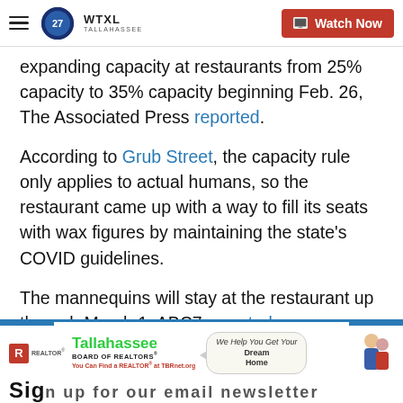WTXL Tallahassee — Watch Now
expanding capacity at restaurants from 25% capacity to 35% capacity beginning Feb. 26, The Associated Press reported.
According to Grub Street, the capacity rule only applies to actual humans, so the restaurant came up with a way to fill its seats with wax figures by maintaining the state's COVID guidelines.
The mannequins will stay at the restaurant up through March 1, ABC7 reported.
Copyright 2021 Scripps Media, Inc. All rights reserved. This material may not be published, broadcast, rewritten, or redistributed.
[Figure (infographic): Advertisement for Tallahassee Board of Realtors with logo, 'We Help You Get Your Dream Home' speech bubble, and sign-up bar at bottom.]